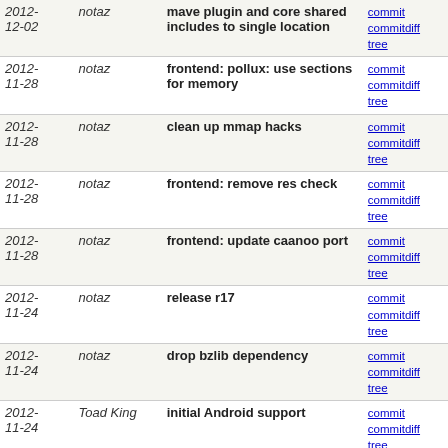| Date | Author | Commit | Links |
| --- | --- | --- | --- |
| 2012-12-02 | notaz | mave plugin and core shared includes to single location | commit | commitdiff | tree |
| 2012-11-28 | notaz | frontend: pollux: use sections for memory | commit | commitdiff | tree |
| 2012-11-28 | notaz | clean up mmap hacks | commit | commitdiff | tree |
| 2012-11-28 | notaz | frontend: remove res check | commit | commitdiff | tree |
| 2012-11-28 | notaz | frontend: update caanoo port | commit | commitdiff | tree |
| 2012-11-24 | notaz | release r17 | commit | commitdiff | tree |
| 2012-11-24 | notaz | drop bzlib dependency | commit | commitdiff | tree |
| 2012-11-24 | Toad King | initial Android support | commit | commitdiff | tree |
| 2012-11-24 | notaz | gpulib: check mode change on blank | commit | commitdiff | tree |
| 2012-11-24 | notaz | cdrom: try different seeking approach | commit | commitdiff | tree |
| 2012-11-24 | notaz | spu: fix saving bug | commit | commitdiff | tree |
| 2012-11-24 | notaz | fix some more 32/64bit incompatibilities | commit | commitdiff | tree |
| 2012-11-24 | notaz | frontend: allow sstates without cd img | commit | commitdiff | tree |
| 2012-11-24 | notaz | gte: avoid fno-strict-aliasing | commit | ... |